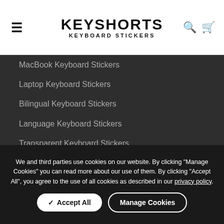KEYSHORTS KEYBOARD STICKERS
MacBook Keyboard Stickers
Laptop Keyboard Stickers
Bilingual Keyboard Stickers
Language Keyboard Stickers
Transparent Keyboard Stickers
Editing Keyboard Stickers
Replacement Keyboard Stickers
We and third parties use cookies on our website. By clicking "Manage Cookies" you can read more about our use of them. By clicking "Accept All", you agree to the use of all cookies as described in our privacy policy.
Accept All | Manage Cookies